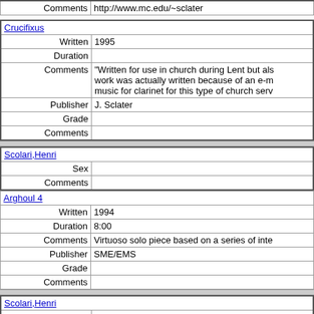| Comments | http://www.mc.edu/~sclater |
| Crucifixus |  |
| Written | 1995 |
| Duration |  |
| Comments | "Written for use in church during Lent but also work was actually written because of an e-m music for clarinet for this type of church serv |
| Publisher | J. Sclater |
| Grade |  |
| Comments |  |
| Scolari,Henri |  |
| Sex |  |
| Comments |  |
| Arghoul 4 |  |
| Written | 1994 |
| Duration | 8:00 |
| Comments | Virtuoso solo piece based on a series of inte |
| Publisher | SME/EMS |
| Grade |  |
| Comments |  |
| Scolari,Henri |  |
| Sex |  |